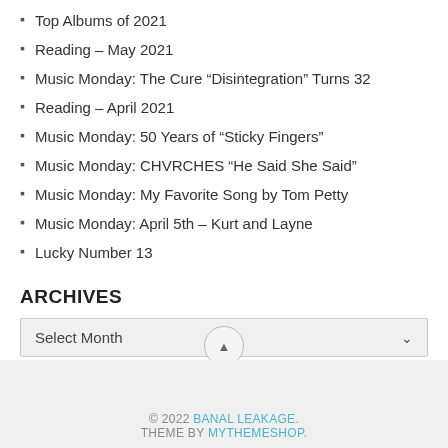Top Albums of 2021
Reading – May 2021
Music Monday: The Cure “Disintegration” Turns 32
Reading – April 2021
Music Monday: 50 Years of “Sticky Fingers”
Music Monday: CHVRCHES “He Said She Said”
Music Monday: My Favorite Song by Tom Petty
Music Monday: April 5th – Kurt and Layne
Lucky Number 13
ARCHIVES
Select Month
© 2022 BANAL LEAKAGE. THEME BY MYTHEMESHOP.